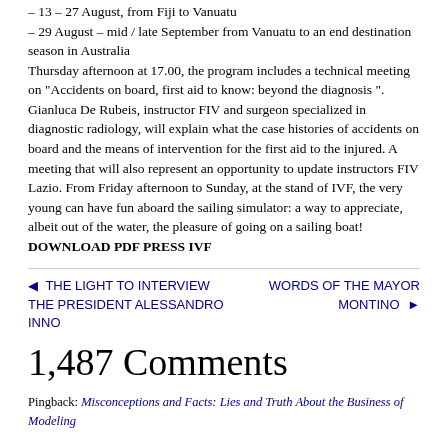– 13 – 27 August, from Fiji to Vanuatu
– 29 August – mid / late September from Vanuatu to an end destination season in Australia
Thursday afternoon at 17.00, the program includes a technical meeting on "Accidents on board, first aid to know: beyond the diagnosis ". Gianluca De Rubeis, instructor FIV and surgeon specialized in diagnostic radiology, will explain what the case histories of accidents on board and the means of intervention for the first aid to the injured. A meeting that will also represent an opportunity to update instructors FIV Lazio. From Friday afternoon to Sunday, at the stand of IVF, the very young can have fun aboard the sailing simulator: a way to appreciate, albeit out of the water, the pleasure of going on a sailing boat!
DOWNLOAD PDF PRESS IVF
◄ THE LIGHT TO INTERVIEW THE PRESIDENT ALESSANDRO INNO
WORDS OF THE MAYOR MONTINO ►
1,487 Comments
Pingback: Misconceptions and Facts: Lies and Truth About the Business of Modeling